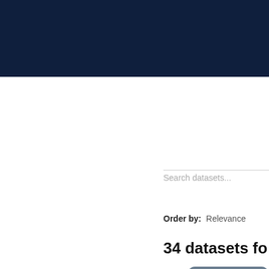[Figure (screenshot): Dark navy blue header bar at the top of a government data portal page]
Search datasets...
Order by: Relevance
34 datasets fo
Tags: freedom of informa
Filter Results